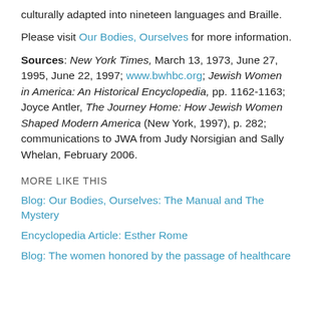culturally adapted into nineteen languages and Braille.
Please visit Our Bodies, Ourselves for more information.
Sources: New York Times, March 13, 1973, June 27, 1995, June 22, 1997; www.bwhbc.org; Jewish Women in America: An Historical Encyclopedia, pp. 1162-1163; Joyce Antler, The Journey Home: How Jewish Women Shaped Modern America (New York, 1997), p. 282; communications to JWA from Judy Norsigian and Sally Whelan, February 2006.
MORE LIKE THIS
Blog: Our Bodies, Ourselves: The Manual and The Mystery
Encyclopedia Article: Esther Rome
Blog: The women honored by the passage of healthcare